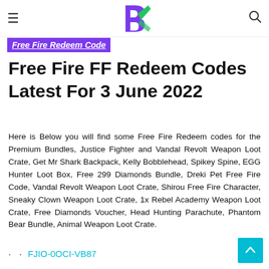≡  [Logo]  🔍
Free Fire Redeem Code
Free Fire FF Redeem Codes Latest For 3 June 2022
Here is Below you will find some Free Fire Redeem codes for the Premium Bundles, Justice Fighter and Vandal Revolt Weapon Loot Crate, Get Mr Shark Backpack, Kelly Bobblehead, Spikey Spine, EGG Hunter Loot Box, Free 299 Diamonds Bundle, Dreki Pet Free Fire Code, Vandal Revolt Weapon Loot Crate, Shirou Free Fire Character, Sneaky Clown Weapon Loot Crate, 1x Rebel Academy Weapon Loot Crate, Free Diamonds Voucher, Head Hunting Parachute, Phantom Bear Bundle, Animal Weapon Loot Crate.
FJIO-0OCI-VB87